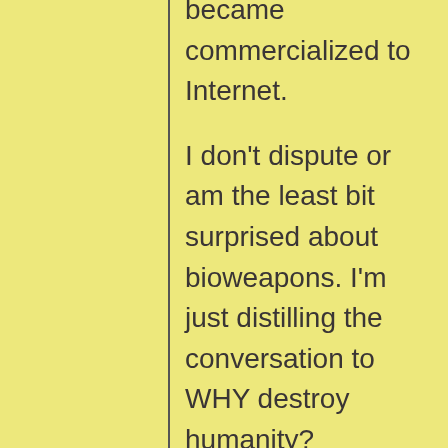became commercialized to Internet.

I don't dispute or am the least bit surprised about bioweapons. I'm just distilling the conversation to WHY destroy humanity?